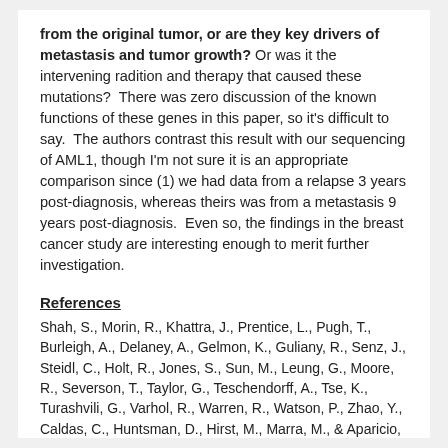from the original tumor, or are they key drivers of metastasis and tumor growth? Or was it the intervening radition and therapy that caused these mutations?  There was zero discussion of the known functions of these genes in this paper, so it's difficult to say.  The authors contrast this result with our sequencing of AML1, though I'm not sure it is an appropriate comparison since (1) we had data from a relapse 3 years post-diagnosis, whereas theirs was from a metastasis 9 years post-diagnosis.  Even so, the findings in the breast cancer study are interesting enough to merit further investigation.
References
Shah, S., Morin, R., Khattra, J., Prentice, L., Pugh, T., Burleigh, A., Delaney, A., Gelmon, K., Guliany, R., Senz, J., Steidl, C., Holt, R., Jones, S., Sun, M., Leung, G., Moore, R., Severson, T., Taylor, G., Teschendorff, A., Tse, K., Turashvili, G., Varhol, R., Warren, R., Watson, P., Zhao, Y., Caldas, C., Huntsman, D., Hirst, M., Marra, M., & Aparicio, S. (2009). Mutational evolution in a lobular breast tumour profiled at single nucleotide resolution Nature, 461 (7265), 809-813 DOI: 10.1038/nature08489